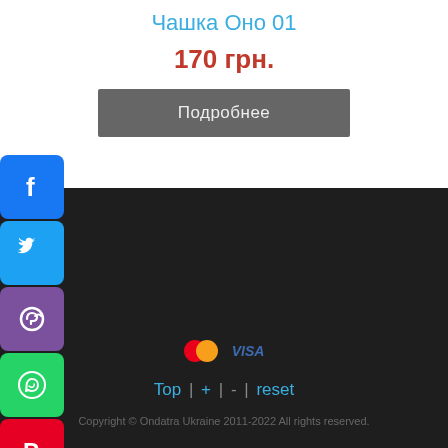Чашка Оно 01
170 грн.
Подробнее
[Figure (other): Social media share buttons: Facebook, Twitter, Viber, WhatsApp, Pinterest]
[Figure (other): Payment icons: Mastercard and Visa logos]
Top | + | - | reset
Copyright © Ondatra Ukraine 2011-2022 All rights reserved.